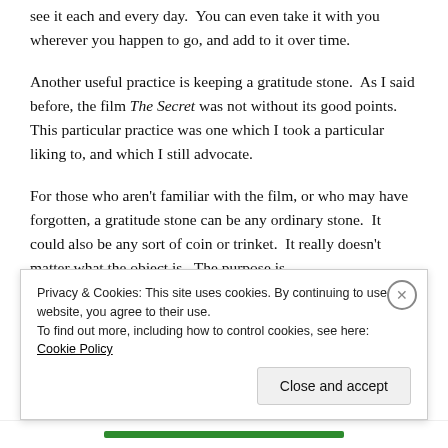see it each and every day.  You can even take it with you wherever you happen to go, and add to it over time.
Another useful practice is keeping a gratitude stone.  As I said before, the film The Secret was not without its good points.  This particular practice was one which I took a particular liking to, and which I still advocate.
For those who aren't familiar with the film, or who may have forgotten, a gratitude stone can be any ordinary stone.  It could also be any sort of coin or trinket.  It really doesn't matter what the object is.  The purpose is
Privacy & Cookies: This site uses cookies. By continuing to use this website, you agree to their use.
To find out more, including how to control cookies, see here: Cookie Policy